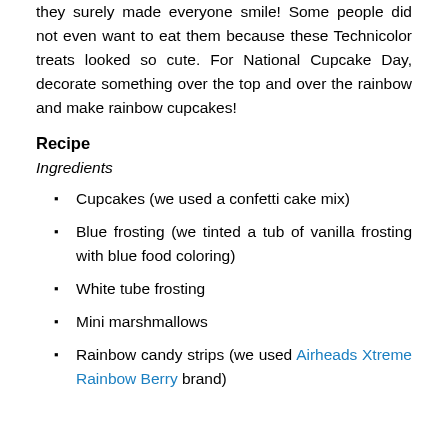they surely made everyone smile! Some people did not even want to eat them because these Technicolor treats looked so cute. For National Cupcake Day, decorate something over the top and over the rainbow and make rainbow cupcakes!
Recipe
Ingredients
Cupcakes (we used a confetti cake mix)
Blue frosting (we tinted a tub of vanilla frosting with blue food coloring)
White tube frosting
Mini marshmallows
Rainbow candy strips (we used Airheads Xtreme Rainbow Berry brand)